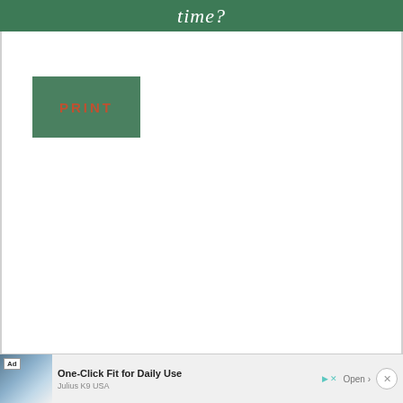time?
[Figure (other): A green rectangular button labeled PRINT in red/orange letters]
[Figure (other): Advertisement banner: dog wearing harness, text 'One-Click Fit for Daily Use', 'Julius K9 USA', Open button]